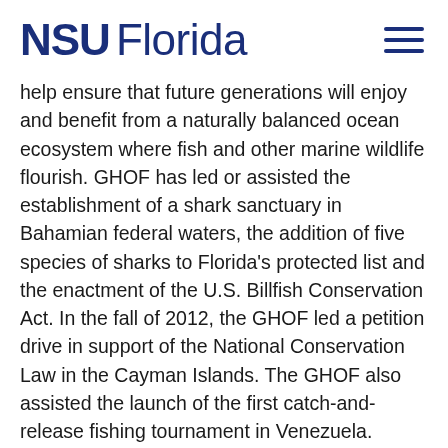NSU Florida
help ensure that future generations will enjoy and benefit from a naturally balanced ocean ecosystem where fish and other marine wildlife flourish. GHOF has led or assisted the establishment of a shark sanctuary in Bahamian federal waters, the addition of five species of sharks to Florida's protected list and the enactment of the U.S. Billfish Conservation Act. In the fall of 2012, the GHOF led a petition drive in support of the National Conservation Law in the Cayman Islands. The GHOF also assisted the launch of the first catch-and-release fishing tournament in Venezuela.
[Figure (photo): Person fishing on a boat, overcast sky]
[Figure (photo): Woman holding fishing rod outdoors, wearing sunglasses]
[Figure (photo): Shark underwater in blue water]